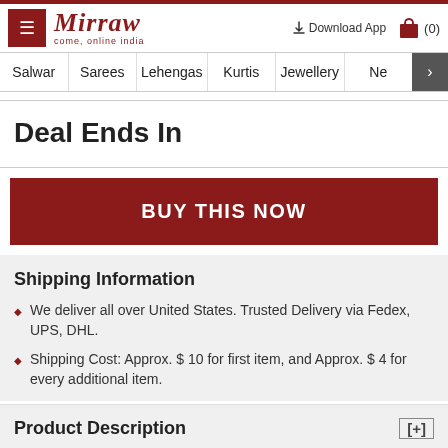Mirraw — come, online india | Download App | Cart (0)
Salwar | Sarees | Lehengas | Kurtis | Jewellery | Ne >
Deal Ends In
BUY THIS NOW
Shipping Information
We deliver all over United States. Trusted Delivery via Fedex, UPS, DHL.
Shipping Cost: Approx. $ 10 for first item, and Approx. $ 4 for every additional item.
Product Description